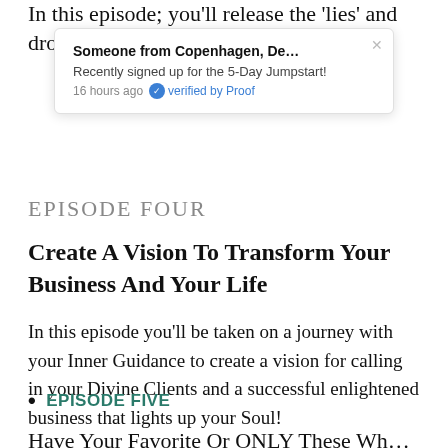In this episode; you'll release the 'lies' and drop
[Figure (screenshot): Notification popup: 'Someone from Copenhagen, De...' Recently signed up for the 5-Day Jumpstart! 16 hours ago verified by Proof]
EPISODE FOUR
Create A Vision To Transform Your Business And Your Life
In this episode you'll be taken on a journey with your Inner Guidance to create a vision for calling in your Divine Clients and a successful enlightened business that lights up your Soul!
EPISODE FIVE
Have Your Favorite Or ONLY These When...